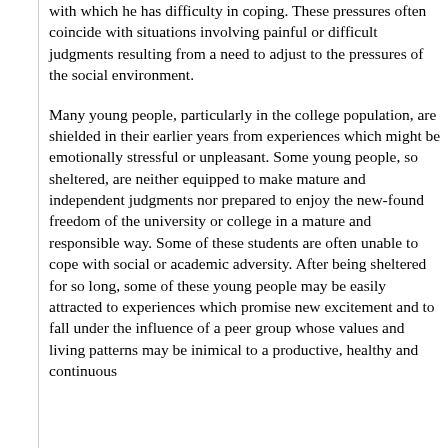with which he has difficulty in coping. These pressures often coincide with situations involving painful or difficult judgments resulting from a need to adjust to the pressures of the social environment.
Many young people, particularly in the college population, are shielded in their earlier years from experiences which might be emotionally stressful or unpleasant. Some young people, so sheltered, are neither equipped to make mature and independent judgments nor prepared to enjoy the new-found freedom of the university or college in a mature and responsible way. Some of these students are often unable to cope with social or academic adversity. After being sheltered for so long, some of these young people may be easily attracted to experiences which promise new excitement and to fall under the influence of a peer group whose values and living patterns may be inimical to a productive, healthy and continuous